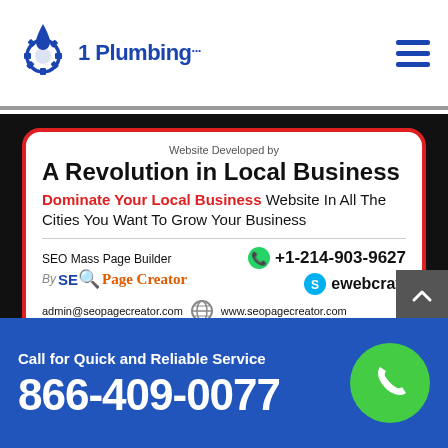[Figure (logo): 1 Plumbing logo with droplet/gear icon in blue]
[Figure (illustration): Hamburger menu icon (three horizontal lines) in dark blue]
[Figure (infographic): Advertisement card: Website Developed by A Revolution in Local Business - Dominate Your Local Business Website In All The Cities You Want To Grow Your Business. SEO Mass Page Builder +1-214-903-9627, By SEO Page Creator, ewebcraft, admin@seopagecreator.com, www.seopagecreator.com]
Disclaimer: 1-Plumbing.com is a free service to assist homeowners in connecting with local service providers. All
Call for Quick and Reliable Service
866-409-0077